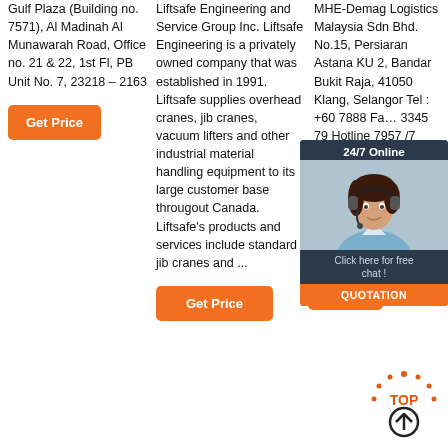Gulf Plaza (Building no. 7571), Al Madinah Al Munawarah Road, Office no. 21 & 22, 1st Fl, PB Unit No. 7, 23218 – 2163
Get Price
Liftsafe Engineering and Service Group Inc. Liftsafe Engineering is a privately owned company that was established in 1991. Liftsafe supplies overhead cranes, jib cranes, vacuum lifters and other industrial material handling equipment to its large customer base througout Canada. Liftsafe's products and services include standard jib cranes and ...
Get Price
MHE-Demag Logistics Malaysia Sdn Bhd. No.15, Persiaran Astana KU 2, Bandar Bukit Raja, 41050 Klang, Selangor Tel : +60 7888 Fax: 3345 79 Hotline 7957 /7 WhatsApp 455 252
[Figure (other): 24/7 Online chat widget overlay with customer service representative photo, click here for free chat text, and QUOTATION button]
Get Price
[Figure (other): TOP scroll-to-top button icon with orange dotted arc and upward arrow]